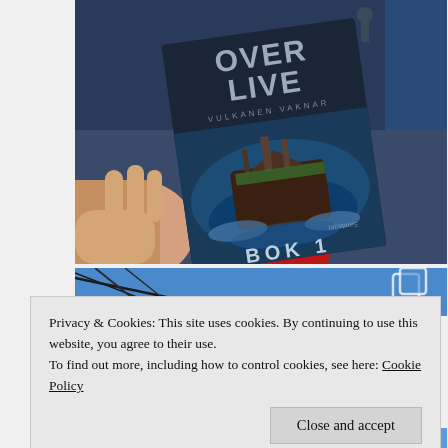[Figure (photo): A hand holding a book titled 'Overlive - Vulkanen Vaknar, Bok 1' with a dark cover showing a ship in stormy waters. The background shows blue jeans and a red sock.]
[Figure (photo): Partial view of a second photo showing a blue sky with wires, partially obscured by a cookie consent banner. A copy/duplicate icon is visible on the right side.]
Privacy & Cookies: This site uses cookies. By continuing to use this website, you agree to their use.
To find out more, including how to control cookies, see here: Cookie Policy
Close and accept